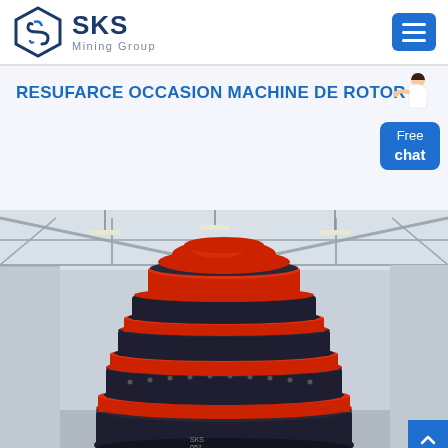SKS Mining Group
RESUFARCE OCCASION MACHINE DE ROTOR
[Figure (photo): Large industrial rotor/crusher machine with alternating red and dark/black rings stacked in a conical tower shape, photographed inside a large factory/warehouse with steel roof trusses and industrial lighting. Text markings visible near bottom of machine.]